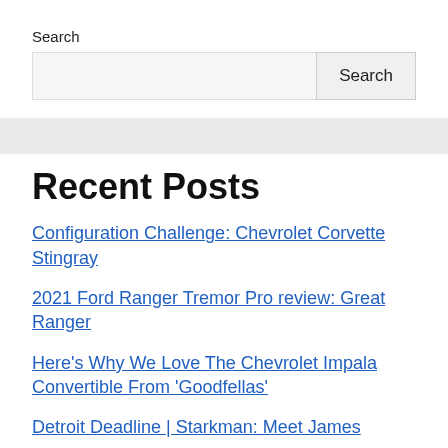Search
Search [input box and button]
Recent Posts
Configuration Challenge: Chevrolet Corvette Stingray
2021 Ford Ranger Tremor Pro review: Great Ranger
Here’s Why We Love The Chevrolet Impala Convertible From ‘Goodfellas’
Detroit Deadline | Starkman: Meet James